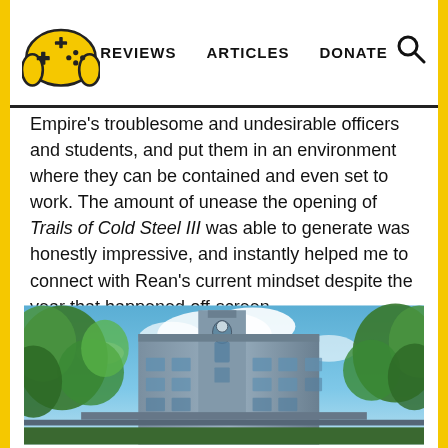REVIEWS  ARTICLES  DONATE
Empire's troublesome and undesirable officers and students, and put them in an environment where they can be contained and even set to work. The amount of unease the opening of Trails of Cold Steel III was able to generate was honestly impressive, and instantly helped me to connect with Rean's current mindset despite the year that happened off-screen.
[Figure (screenshot): Anime-style game screenshot showing a large ornate institutional building with Gothic/industrial architecture, surrounded by green trees under a cloudy blue sky. The building has a tall clock/emblem tower.]